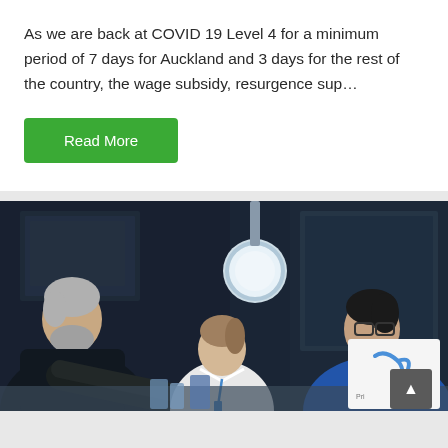As we are back at COVID 19 Level 4 for a minimum period of 7 days for Auckland and 3 days for the rest of the country, the wage subsidy, resurgence sup...
Read More
[Figure (photo): Three people working together in a laboratory or technical environment. An older man with grey beard on the left is pointing at something, a woman in a white blouse with a lanyard in the center is looking down, and a younger man in a blue shirt with glasses is standing on the right. A bright circular lamp is visible in the background.]